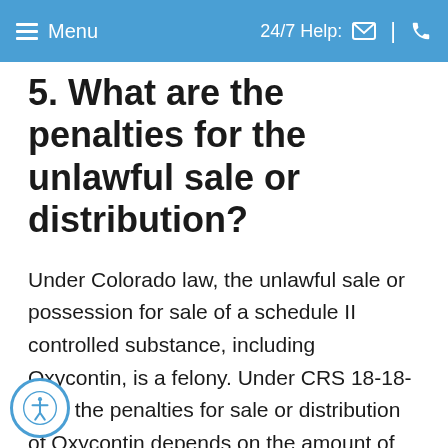Menu | 24/7 Help:
5. What are the penalties for the unlawful sale or distribution?
Under Colorado law, the unlawful sale or possession for sale of a schedule II controlled substance, including Oxycontin, is a felony. Under CRS 18-18-405, the penalties for sale or distribution of Oxycontin depends on the amount of Oxycontin and any material, compound or mixture involved.